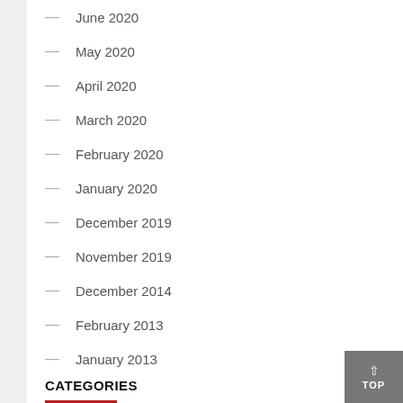June 2020
May 2020
April 2020
March 2020
February 2020
January 2020
December 2019
November 2019
December 2014
February 2013
January 2013
CATEGORIES